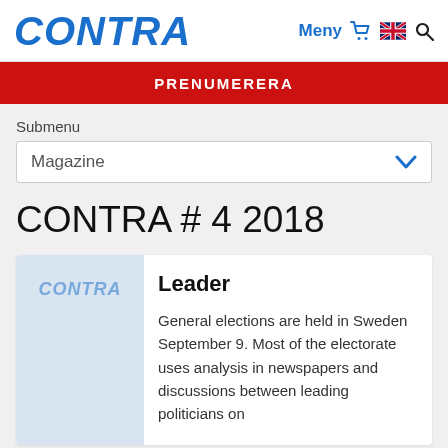CONTRA — Meny (cart) (flag) (search)
PRENUMERERA
Submenu
Magazine
CONTRA # 4 2018
Leader
General elections are held in Sweden September 9. Most of the electorate uses analysis in newspapers and discussions between leading politicians on